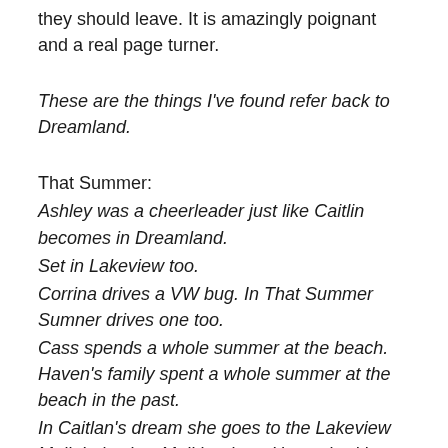they should leave. It is amazingly poignant and a real page turner.
These are the things I've found refer back to Dreamland.
That Summer:
Ashley was a cheerleader just like Caitlin becomes in Dreamland.
Set in Lakeview too.
Corrina drives a VW bug. In That Summer Sumner drives one too.
Cass spends a whole summer at the beach. Haven's family spent a whole summer at the beach in the past.
In Caitlan's dream she goes to the Lakeview Mall. Lakeview Mall is where Haven had her first job at.
Someone Like You:
Scarlett and Haley went to Jackson High. Caitlan goes